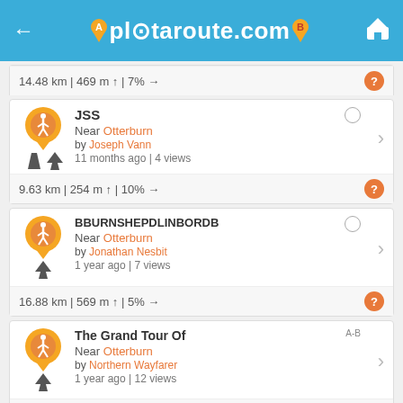plotaroute.com
14.48 km | 469 m ↑ | 7% →
JSS
Near Otterburn
by Joseph Vann
11 months ago | 4 views
9.63 km | 254 m ↑ | 10% →
BBURNSHEPDLINBORDB
Near Otterburn
by Jonathan Nesbit
1 year ago | 7 views
16.88 km | 569 m ↑ | 5% →
The Grand Tour Of
Near Otterburn
by Northern Wayfarer
1 year ago | 12 views
23.93 km | 801 m ↑ | 3% →
Windy Gyle With Hannah